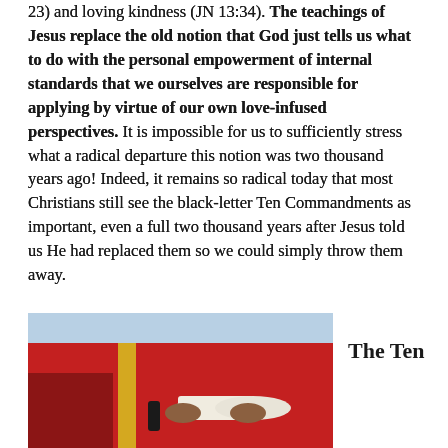23) and loving kindness (JN 13:34). The teachings of Jesus replace the old notion that God just tells us what to do with the personal empowerment of internal standards that we ourselves are responsible for applying by virtue of our own love-infused perspectives. It is impossible for us to sufficiently stress what a radical departure this notion was two thousand years ago! Indeed, it remains so radical today that most Christians still see the black-letter Ten Commandments as important, even a full two thousand years after Jesus told us He had replaced them so we could simply throw them away.
[Figure (photo): A person in red and gold ceremonial robes holding a white scroll or rolled document, photographed against a light blue sky background.]
The Ten